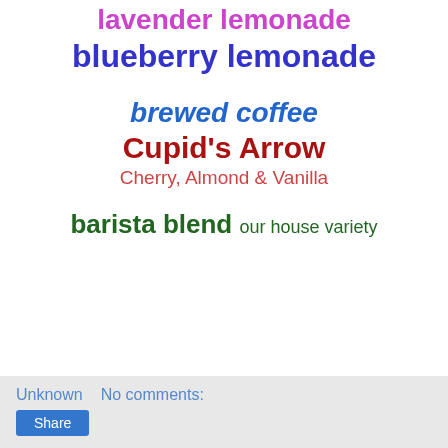lavender lemonade
blueberry lemonade
brewed coffee
Cupid's Arrow
Cherry, Almond & Vanilla
barista blend our house variety
Unknown   No comments:   Share